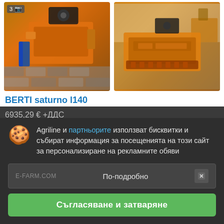[Figure (photo): Two photos of orange BERTI agricultural mulcher/tiller machines side by side. Left photo shows the machine from an angle on paving stones with a badge showing '3' and a camera icon. Right photo shows the machine from the front/side in an outdoor setting.]
BERTI saturno l140
6935,29 €  +ДДС
Agriline и партньорите използват бисквитки и събират информация за посещенията на този сайт за персонализиране на рекламните обяви
По-подробно
Съгласяване и затваряне